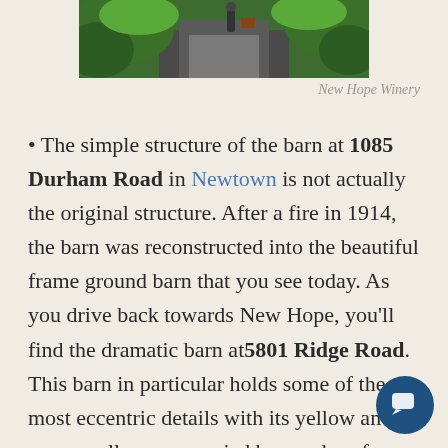[Figure (photo): Outdoor pathway with green foliage on both sides, people visible in background — New Hope Winery]
New Hope Winery
• The simple structure of the barn at 1085 Durham Road in Newtown is not actually the original structure. After a fire in 1914, the barn was reconstructed into the beautiful frame ground barn that you see today. As you drive back towards New Hope, you'll find the dramatic barn at 5801 Ridge Road. This barn in particular holds some of the most eccentric details with its yellow and green walls accompanied by a red roof.